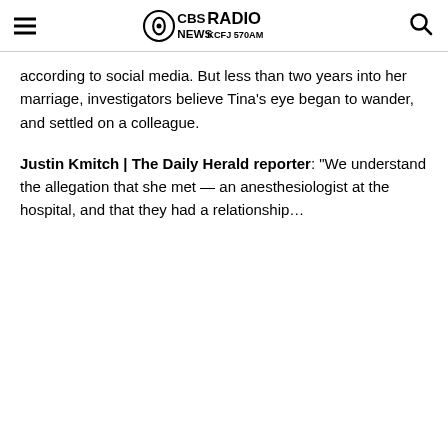CBS News Radio KCFJ 570AM
according to social media. But less than two years into her marriage, investigators believe Tina's eye began to wander, and settled on a colleague.
Justin Kmitch | The Daily Herald reporter: "We understand the allegation that she met — an anesthesiologist at the hospital, and that they had a relationship…